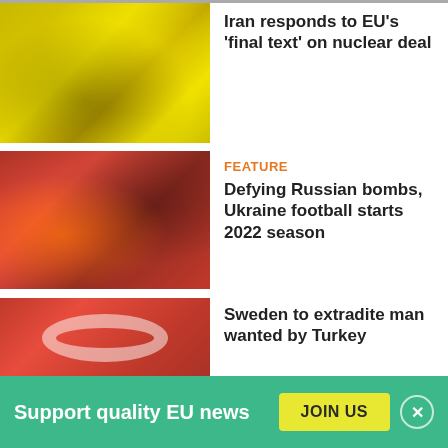[Figure (photo): Person in yellow protective suit, nuclear/hazmat context]
Iran responds to EU's 'final text' on nuclear deal
[Figure (photo): Football players in orange and black uniforms playing a match]
FEATURE
Defying Russian bombs, Ukraine football starts 2022 season
[Figure (photo): Crowd with Turkish red flag]
Sweden to extradite man wanted by Turkey
Support quality EU news
JOIN US